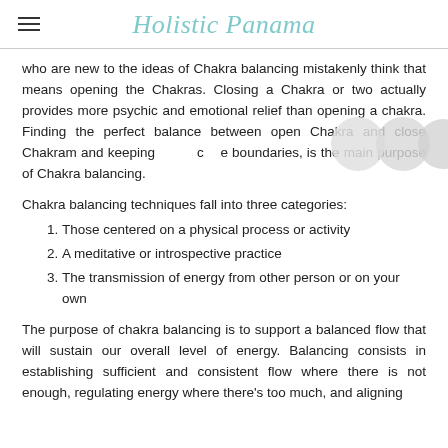Holistic Panama
who are new to the ideas of Chakra balancing mistakenly think that means opening the Chakras. Closing a Chakra or two actually provides more psychic and emotional relief than opening a chakra. Finding the perfect balance between open Chakra and close Chakram and keeping clear boundaries, is the main purpose of Chakra balancing.
Chakra balancing techniques fall into three categories:
Those centered on a physical process or activity
A meditative or introspective practice
The transmission of energy from other person or on your own
The purpose of chakra balancing is to support a balanced flow that will sustain our overall level of energy. Balancing consists in establishing sufficient and consistent flow where there is not enough, regulating energy where there's too much, and aligning